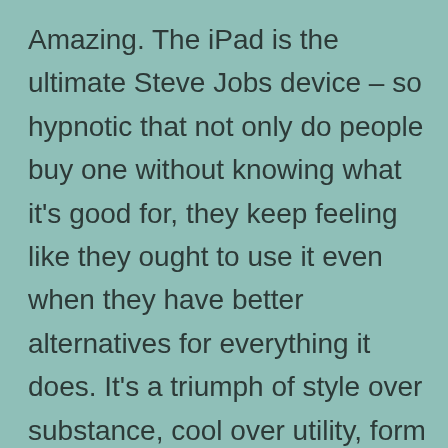Amazing. The iPad is the ultimate Steve Jobs device – so hypnotic that not only do people buy one without knowing what it's good for, they keep feeling like they ought to use it even when they have better alternatives for everything it does. It's a triumph of style over substance, cool over utility, form over actual function. The viral YouTube videos of cats and two-years-olds playing with it speak truth in their unsurpassable combination of draw-you-in cuteness with utter pointlessness. It's the perfect lust object of postmodern consumerism, irresistibly attractive but empty